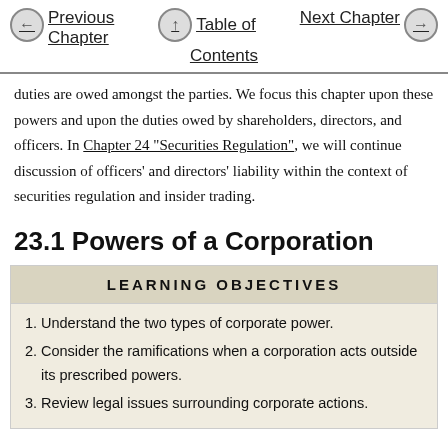Previous Chapter | Table of Contents | Next Chapter
duties are owed amongst the parties. We focus this chapter upon these powers and upon the duties owed by shareholders, directors, and officers. In Chapter 24 "Securities Regulation", we will continue discussion of officers' and directors' liability within the context of securities regulation and insider trading.
23.1 Powers of a Corporation
LEARNING OBJECTIVES
Understand the two types of corporate power.
Consider the ramifications when a corporation acts outside its prescribed powers.
Review legal issues surrounding corporate actions.